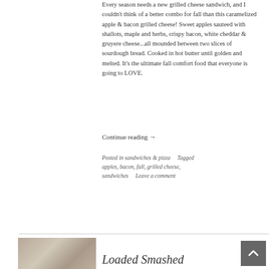Every season needs a new grilled cheese sandwich, and I couldn't think of a better combo for fall than this caramelized apple & bacon grilled cheese! Sweet apples sauteed with shallots, maple and herbs, crispy bacon, white cheddar & gruyere cheese...all mounded between two slices of sourdough bread. Cooked in hot butter until golden and melted. It's the ultimate fall comfort food that everyone is going to LOVE.
Continue reading →
Posted in sandwiches & pizza   Tagged apples, bacon, fall, grilled cheese, sandwiches   Leave a comment
[Figure (photo): Small thumbnail photo of a food dish, partially visible at bottom left]
Loaded Smashed